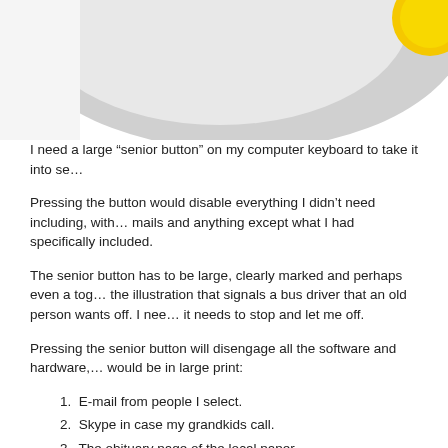[Figure (photo): Partial photo showing a grey/white circular shape (possibly a plate or ball) and a yellow object in the upper right corner, cropped at the top of the page.]
I need a large “senior button” on my computer keyboard to take it into se…
Pressing the button would disable everything I didn’t need including, with… mails and anything except what I had specifically included.
The senior button has to be large, clearly marked and perhaps even a tog… the illustration that signals a bus driver that an old person wants off. I nee… it needs to stop and let me off.
Pressing the senior button will disengage all the software and hardware,… would be in large print:
E-mail from people I select.
Skype in case my grandkids call.
The obituary page of the local paper.
Stock market update.
geezer2go.com
Select telephone numbers that by clicking would dial select friends…